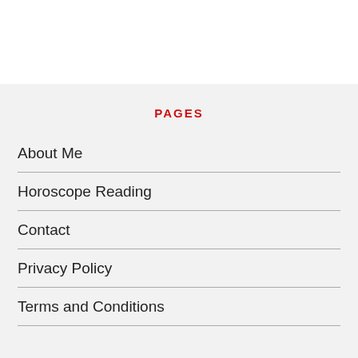PAGES
About Me
Horoscope Reading
Contact
Privacy Policy
Terms and Conditions